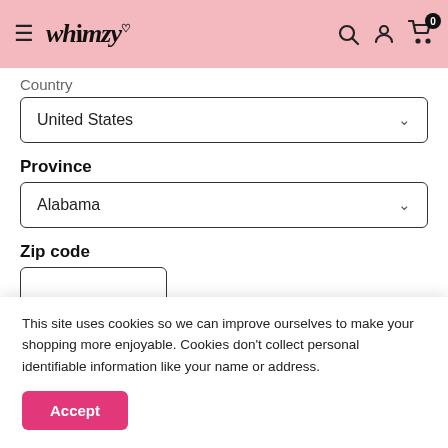Whimzy
Country
United States
Province
Alabama
Zip code
This site uses cookies so we can improve ourselves to make your shopping more enjoyable. Cookies don't collect personal identifiable information like your name or address.
Accept